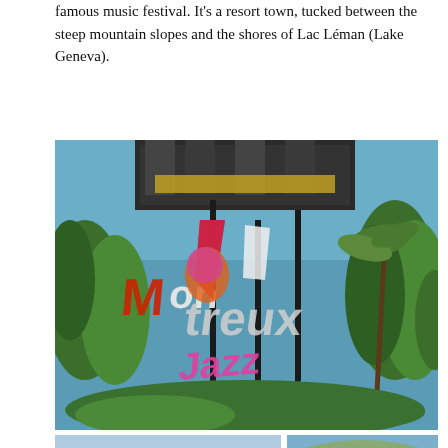famous music festival. It's a resort town, tucked between the steep mountain slopes and the shores of Lac Léman (Lake Geneva).
[Figure (photo): Montreux Jazz Festival sign/logo installation among green trees and palm trees with building in background, colorful artistic lettering]
[Figure (photo): Alpine mountain landscape with snow-capped peaks and clouds]
[Figure (photo): Buildings and castle/chateau amid green trees in Montreux area]